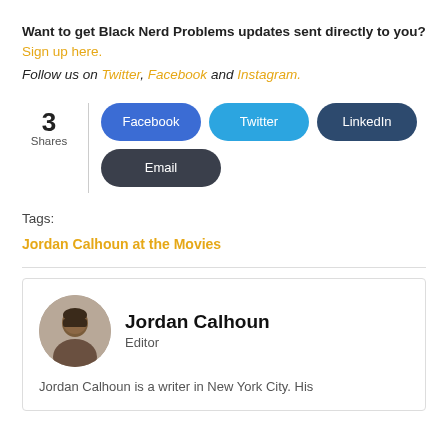Want to get Black Nerd Problems updates sent directly to you? Sign up here.
Follow us on Twitter, Facebook and Instagram.
[Figure (other): Social share widget showing 3 Shares count, and buttons for Facebook, Twitter, LinkedIn, and Email]
Tags:
Jordan Calhoun at the Movies
Jordan Calhoun
Editor
Jordan Calhoun is a writer in New York City. His